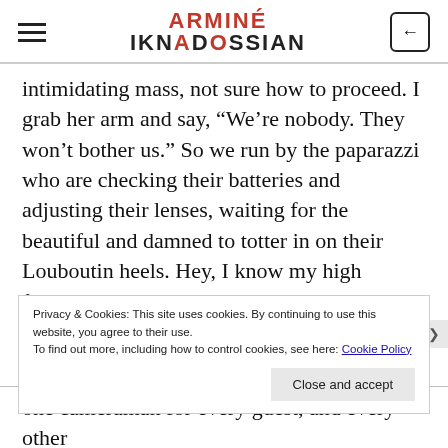ARMINÉ IKNADOSSIAN
intimidating mass, not sure how to proceed. I grab her arm and say, “We’re nobody. They won’t bother us.” So we run by the paparazzi who are checking their batteries and adjusting their lenses, waiting for the beautiful and damned to totter in on their Louboutin heels. Hey, I know my high fashion terminology. My sister works in the god-forsaken industry, after all. It looks like there is one cameraman for every guest, and every other
Privacy & Cookies: This site uses cookies. By continuing to use this website, you agree to their use.
To find out more, including how to control cookies, see here: Cookie Policy
Close and accept